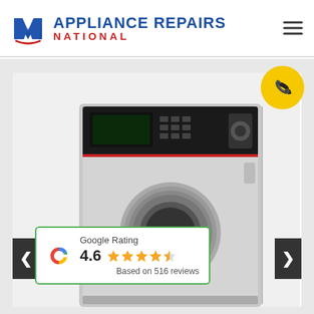[Figure (logo): Appliance Repairs National logo with stylized N icon in blue and text APPLIANCE REPAIRS in blue and NATIONAL in red]
[Figure (photo): Commercial stainless steel front-load washing machine / washer-dryer stack unit with digital control panel on white background]
Google Rating
4.6
Based on 516 reviews